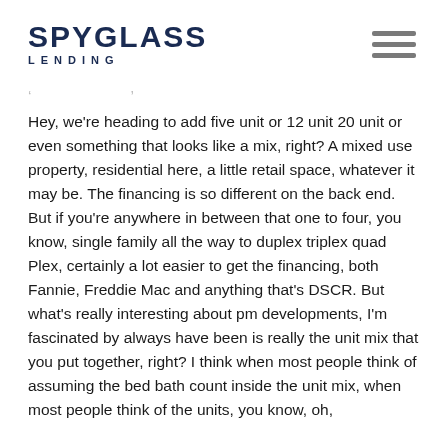SPYGLASS LENDING
Hey, we're heading to add five unit or 12 unit 20 unit or even something that looks like a mix, right? A mixed use property, residential here, a little retail space, whatever it may be. The financing is so different on the back end. But if you're anywhere in between that one to four, you know, single family all the way to duplex triplex quad Plex, certainly a lot easier to get the financing, both Fannie, Freddie Mac and anything that's DSCR. But what's really interesting about pm developments, I'm fascinated by always have been is really the unit mix that you put together, right? I think when most people think of assuming the bed bath count inside the unit mix, when most people think of the units, you know, oh,